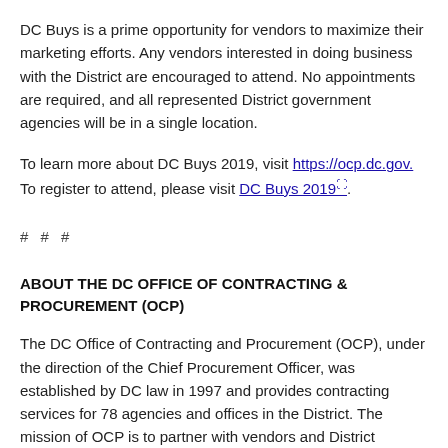DC Buys is a prime opportunity for vendors to maximize their marketing efforts. Any vendors interested in doing business with the District are encouraged to attend. No appointments are required, and all represented District government agencies will be in a single location.
To learn more about DC Buys 2019, visit https://ocp.dc.gov. To register to attend, please visit DC Buys 2019.
# # #
ABOUT THE DC OFFICE OF CONTRACTING & PROCUREMENT (OCP)
The DC Office of Contracting and Procurement (OCP), under the direction of the Chief Procurement Officer, was established by DC law in 1997 and provides contracting services for 78 agencies and offices in the District. The mission of OCP is to partner with vendors and District agencies to purchase quality goods and services in a timely manner, at competitive prices, while...